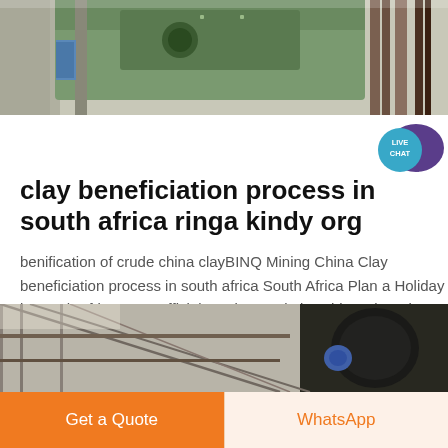[Figure (photo): Top portion of industrial machinery, green and metallic equipment with pipes and valves]
[Figure (illustration): Live Chat speech bubble icon in purple/teal with text LIVE CHAT]
clay beneficiation process in south africa ringa kindy org
benification of crude china clayBINQ Mining China Clay beneficiation process in south africa South Africa Plan a Holiday in South Africa SA s Official Tourism Website China Clay Discover China Clay...
[Figure (photo): Bottom industrial machinery photo showing metal framework, railings and cylindrical equipment]
Get a Quote
WhatsApp